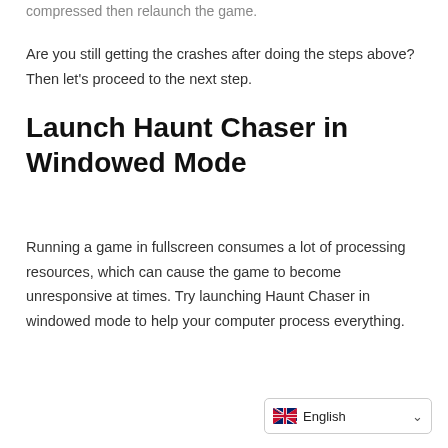compressed then relaunch the game.
Are you still getting the crashes after doing the steps above? Then let’s proceed to the next step.
Launch Haunt Chaser in Windowed Mode
Running a game in fullscreen consumes a lot of processing resources, which can cause the game to become unresponsive at times. Try launching Haunt Chaser in windowed mode to help your computer process everything.
English